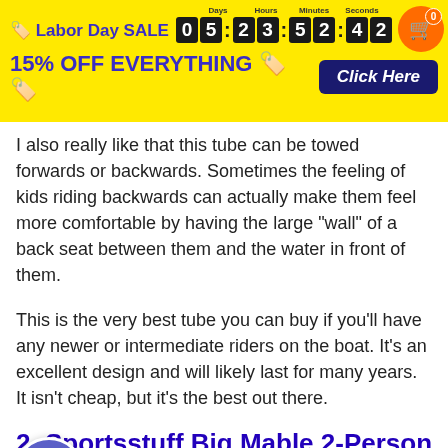[Figure (screenshot): Yellow promotional banner with Labor Day SALE countdown timer (05:23:52:42), shopping cart icon with 0 badge, '15% OFF EVERYTHING' text and 'Click Here' dark blue button]
I also really like that this tube can be towed forwards or backwards. Sometimes the feeling of kids riding backwards can actually make them feel more comfortable by having the large "wall" of a back seat between them and the water in front of them.
This is the very best tube you can buy if you'll have any newer or intermediate riders on the boat. It's an excellent design and will likely last for many years. It isn't cheap, but it's the best out there.
2. Sportsstuff Big Mable 2-Person Towable